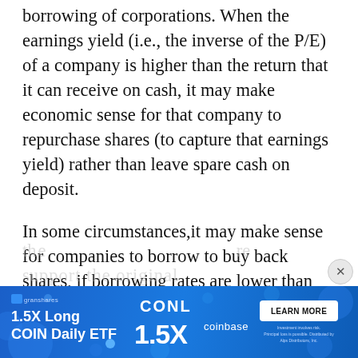borrowing of corporations. When the earnings yield (i.e., the inverse of the P/E) of a company is higher than the return that it can receive on cash, it may make economic sense for that company to repurchase shares (to capture that earnings yield) rather than leave spare cash on deposit.
In some circumstances,it may make sense for companies to borrow to buy back shares, if borrowing rates are lower than the earnings yield.
Both of the above circumstances currently apply, which is perhaps one of the reasons... support the original...
[Figure (other): Advertisement banner: GranShares 1.5X Long COIN Daily ETF, CONL 1.5X, Coinbase, Learn More button with disclaimer text.]